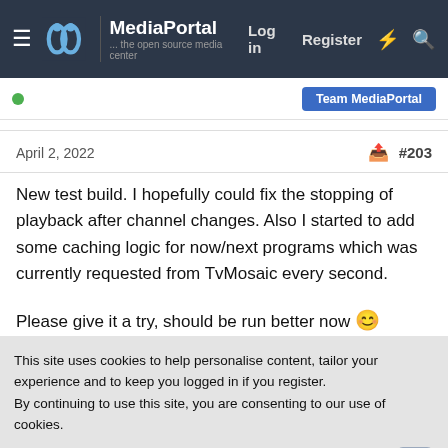MediaPortal — the open source media center | Log in | Register
Team MediaPortal
April 2, 2022  #203
New test build. I hopefully could fix the stopping of playback after channel changes. Also I started to add some caching logic for now/next programs which was currently requested from TvMosaic every second.

Please give it a try, should be run better now 🙂
↩ Quote
👍 Like: 2
This site uses cookies to help personalise content, tailor your experience and to keep you logged in if you register.
By continuing to use this site, you are consenting to our use of cookies.
✓ Accept
Learn more…